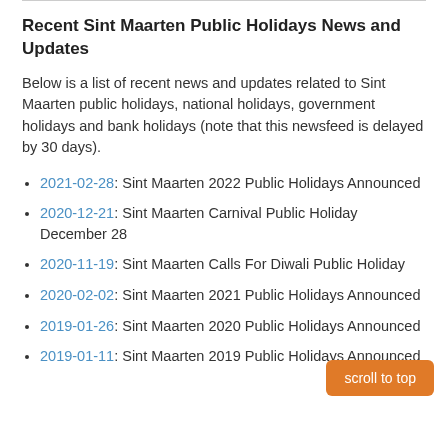Recent Sint Maarten Public Holidays News and Updates
Below is a list of recent news and updates related to Sint Maarten public holidays, national holidays, government holidays and bank holidays (note that this newsfeed is delayed by 30 days).
2021-02-28: Sint Maarten 2022 Public Holidays Announced
2020-12-21: Sint Maarten Carnival Public Holiday December 28
2020-11-19: Sint Maarten Calls For Diwali Public Holiday
2020-02-02: Sint Maarten 2021 Public Holidays Announced
2019-01-26: Sint Maarten 2020 Public Holidays Announced
2019-01-11: Sint Maarten 2019 Public Holidays Announced